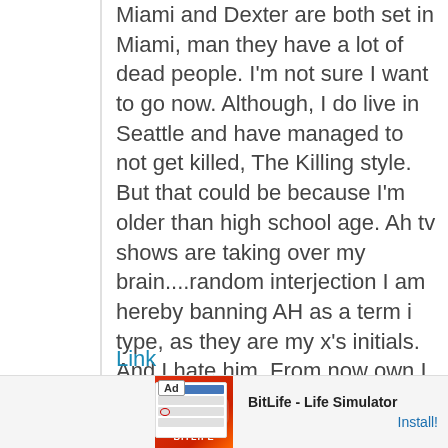Miami and Dexter are both set in Miami, man they have a lot of dead people. I'm not sure I want to go now. Although, I do live in Seattle and have managed to not get killed, The Killing style. But that could be because I'm older than high school age. Ah tv shows are taking over my brain....random interjection I am hereby banning AH as a term i type, as they are my x's initials. And I hate him. From now own I will interject AK..Shit. Still his initials..help me come up with a new term DW peeps what can I say instead of AH?!
Link
[Figure (screenshot): Advertisement banner for BitLife - Life Simulator app, showing Ad label, app screenshot thumbnail with game UI, and Install button]